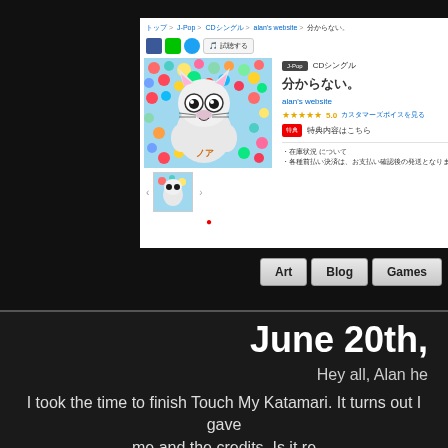[Figure (screenshot): Japanese music e-commerce website showing a CD single product page for 'Wakaranai' by alan's website, with album art, ratings, and navigation buttons for Art, Blog, Games]
June 20th,
Hey all, Alan he
I took the time to finish Touch My Katamari. It turns out I gave me and the credits. Is it re